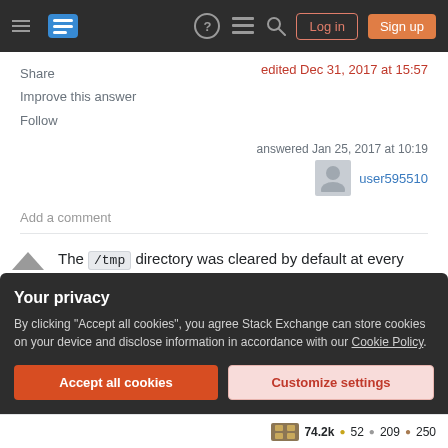Stack Exchange navigation bar with Log in and Sign up buttons
Share
Improve this answer
Follow
edited Dec 31, 2017 at 15:57
answered Jan 25, 2017 at 10:19
user595510
Add a comment
The /tmp directory was cleared by default at every boot, because TMPTIME is 0 by default.
Your privacy
By clicking "Accept all cookies", you agree Stack Exchange can store cookies on your device and disclose information in accordance with our Cookie Policy.
Accept all cookies
Customize settings
74.2k • 52 • 209 • 250